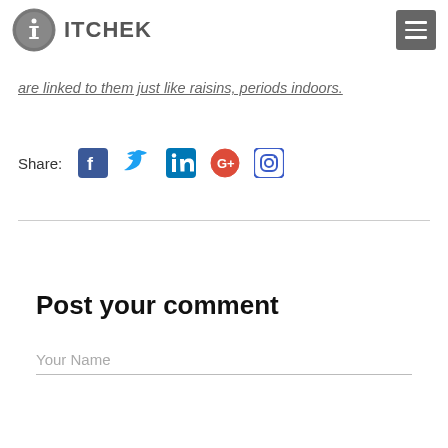ITCHEK
are linked to them just like raisins, periods indoors.
Share:
[Figure (other): Social media share icons: Facebook, Twitter, LinkedIn, Google+, Instagram]
Post your comment
Your Name